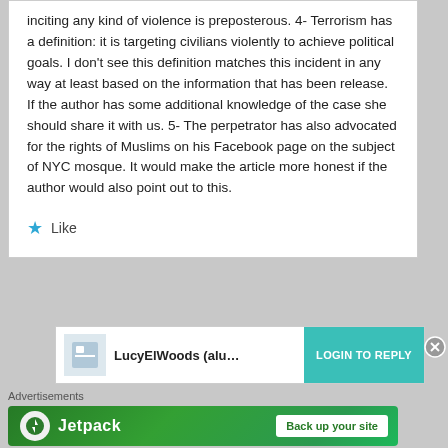inciting any kind of violence is preposterous. 4- Terrorism has a definition: it is targeting civilians violently to achieve political goals. I don't see this definition matches this incident in any way at least based on the information that has been release. If the author has some additional knowledge of the case she should share it with us. 5- The perpetrator has also advocated for the rights of Muslims on his Facebook page on the subject of NYC mosque. It would make the article more honest if the author would also point out to this.
★ Like
LucyElWoods (alu... LOGIN TO REPLY
Advertisements
[Figure (other): Jetpack advertisement banner with green background, Jetpack logo on the left and 'Back up your site' button on the right]